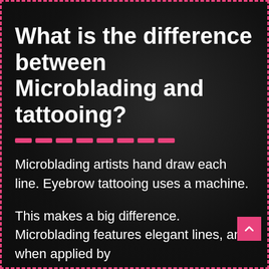What is the difference between Microblading and tattooing?
Microblading artists hand draw each line. Eyebrow tattooing uses a machine.
This makes a big difference. Microblading features elegant lines, and when applied by